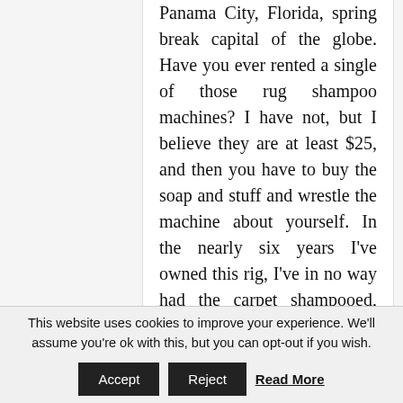Panama City, Florida, spring break capital of the globe. Have you ever rented a single of those rug shampoo machines? I have not, but I believe they are at least $25, and then you have to buy the soap and stuff and wrestle the machine about yourself. In the nearly six years I’ve owned this rig, I’ve in no way had the carpet shampooed, and think me it necessary it. No matter if you are
This website uses cookies to improve your experience. We’ll assume you’re ok with this, but you can opt-out if you wish.